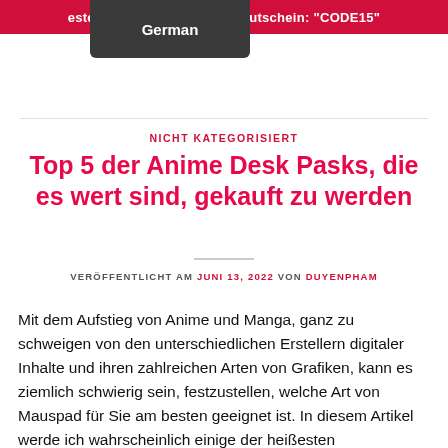estellungen über $100 mit Gutschein: "CODE15"
[Figure (other): German language selector button (dark grey pill/tab shape)]
NICHT KATEGORISIERT
Top 5 der Anime Desk Pasks, die es wert sind, gekauft zu werden
VERÖFFENTLICHT AM JUNI 13, 2022 VON DUYENPHAM
Mit dem Aufstieg von Anime und Manga, ganz zu schweigen von den unterschiedlichen Erstellern digitaler Inhalte und ihren zahlreichen Arten von Grafiken, kann es ziemlich schwierig sein, festzustellen, welche Art von Mauspad für Sie am besten geeignet ist. In diesem Artikel werde ich wahrscheinlich einige der heißesten